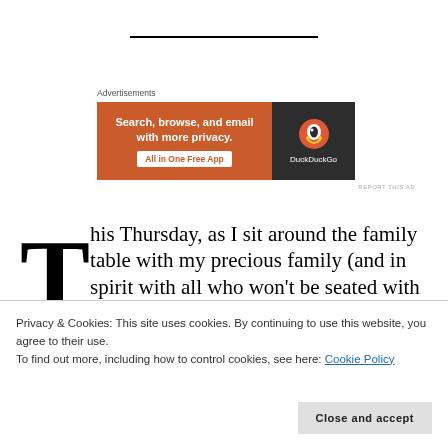[Figure (other): DuckDuckGo advertisement banner: orange left panel with text 'Search, browse, and email with more privacy. All in One Free App' and dark right panel with DuckDuckGo logo and brand name]
This Thursday, as I sit around the family table with my precious family (and in spirit with all who won't be seated with us), I'll be reminded that our freedom wasn't without a fight of faith. Yes, our freedom from our sacrificial Lamb was
Privacy & Cookies: This site uses cookies. By continuing to use this website, you agree to their use.
To find out more, including how to control cookies, see here: Cookie Policy
Close and accept